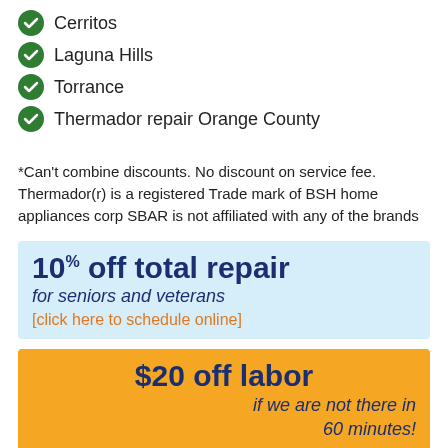Cerritos
Laguna Hills
Torrance
Thermador repair Orange County
*Can't combine discounts. No discount on service fee. Thermador(r) is a registered Trade mark of BSH home appliances corp SBAR is not affiliated with any of the brands
[Figure (infographic): Light blue banner: '10% off total repair for seniors and veterans [click here to schedule online]']
[Figure (infographic): Orange/yellow banner: '$20 off labor if we are not there in 60 minutes!']
[Figure (map): Partial map strip at the bottom of the page]